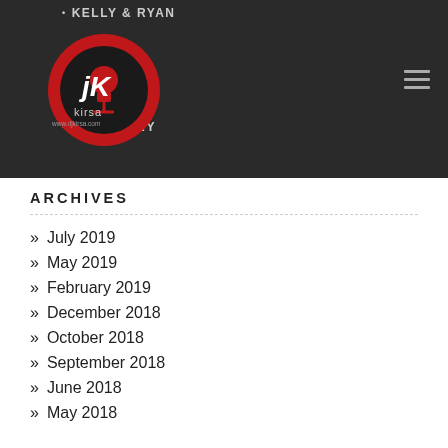KELLY & RYAN | KRIS | & ANTHONY
[Figure (logo): DJ Kirsa circular red and black logo with microphone icon and website URL]
ARCHIVES
July 2019
May 2019
February 2019
December 2018
October 2018
September 2018
June 2018
May 2018